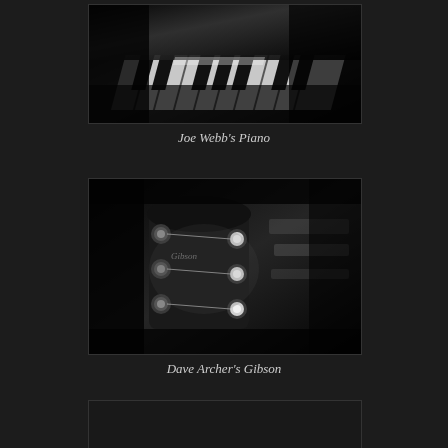[Figure (photo): Black and white close-up photograph of piano keys viewed at an angle, with depth-of-field blur effect]
Joe Webb's Piano
[Figure (photo): Black and white close-up photograph of a Gibson guitar headstock with tuning pegs and strings, with depth-of-field blur effect]
Dave Archer's Gibson
[Figure (photo): Partial black and white photograph (cropped at page bottom)]